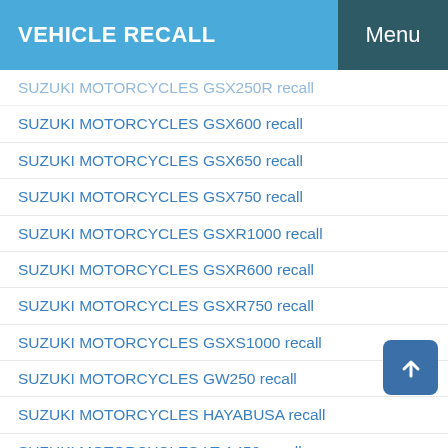VEHICLE RECALL   Menu
SUZUKI MOTORCYCLES GSX250R recall
SUZUKI MOTORCYCLES GSX600 recall
SUZUKI MOTORCYCLES GSX650 recall
SUZUKI MOTORCYCLES GSX750 recall
SUZUKI MOTORCYCLES GSXR1000 recall
SUZUKI MOTORCYCLES GSXR600 recall
SUZUKI MOTORCYCLES GSXR750 recall
SUZUKI MOTORCYCLES GSXS1000 recall
SUZUKI MOTORCYCLES GW250 recall
SUZUKI MOTORCYCLES HAYABUSA recall
SUZUKI MOTORCYCLES LT-A450 recall
SUZUKI MOTORCYCLES LT-A500 recall
SUZUKI MOTORCYCLES LT-A700X recall
SUZUKI MOTORCYCLES LT-A750 recall
SUZUKI MOTORCYCLES LT-F350 recall
SUZUKI MOTORCYCLES LT-F400 recall